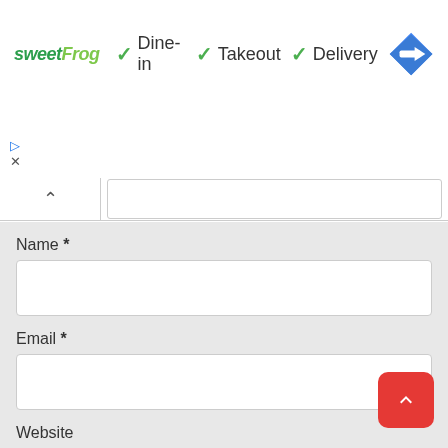[Figure (screenshot): sweetFrog restaurant listing banner showing Dine-in, Takeout, Delivery options with checkmarks and a navigation diamond icon]
▷
✕
[Figure (screenshot): Expand/collapse bar with caret up button and text input field]
Name *
Email *
Website
Save my name, email, and website in this browser for the next time I comment.